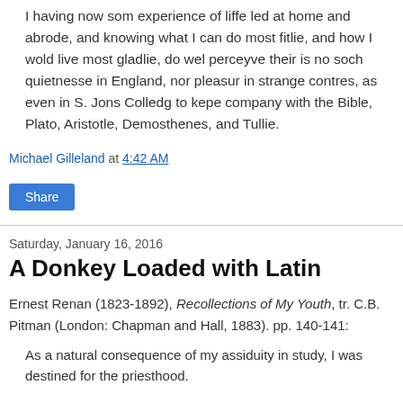I having now som experience of liffe led at home and abrode, and knowing what I can do most fitlie, and how I wold live most gladlie, do wel perceyve their is no soch quietnesse in England, nor pleasur in strange contres, as even in S. Jons Colledg to kepe company with the Bible, Plato, Aristotle, Demosthenes, and Tullie.
Michael Gilleland at 4:42 AM
Share
Saturday, January 16, 2016
A Donkey Loaded with Latin
Ernest Renan (1823-1892), Recollections of My Youth, tr. C.B. Pitman (London: Chapman and Hall, 1883). pp. 140-141:
As a natural consequence of my assiduity in study, I was destined for the priesthood.